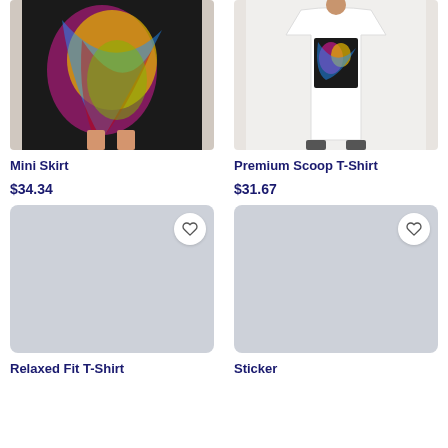[Figure (photo): Mini skirt product photo - colorful abstract print on black mini skirt worn by model]
Mini Skirt
$34.34
[Figure (photo): Premium Scoop T-Shirt product photo - colorful abstract print t-shirt worn by model]
Premium Scoop T-Shirt
$31.67
[Figure (photo): Relaxed Fit T-Shirt placeholder image with heart/favorite button]
Relaxed Fit T-Shirt
[Figure (photo): Sticker placeholder image with heart/favorite button]
Sticker